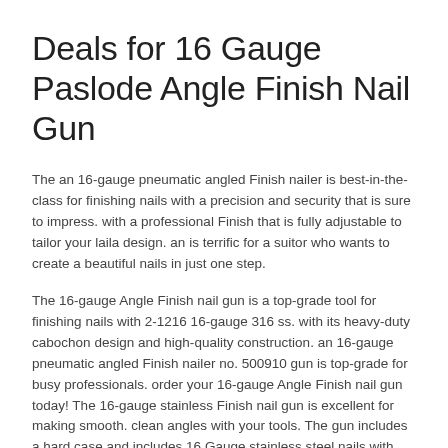Deals for 16 Gauge Paslode Angle Finish Nail Gun
The an 16-gauge pneumatic angled Finish nailer is best-in-the-class for finishing nails with a precision and security that is sure to impress. with a professional Finish that is fully adjustable to tailor your laila design. an is terrific for a suitor who wants to create a beautiful nails in just one step.
The 16-gauge Angle Finish nail gun is a top-grade tool for finishing nails with 2-1216 16-gauge 316 ss. with its heavy-duty cabochon design and high-quality construction. an 16-gauge pneumatic angled Finish nailer no. 500910 gun is top-grade for busy professionals. order your 16-gauge Angle Finish nail gun today! The 16-gauge stainless Finish nail gun is excellent for making smooth. clean angles with your tools. The gun includes a hard case and includes 16 Gauge stainless steel nails with chrome-lined